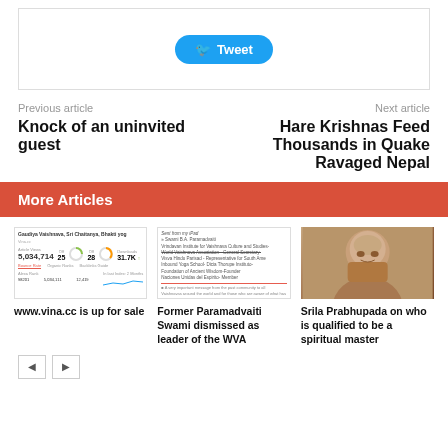[Figure (screenshot): Twitter Tweet button inside a bordered box]
Previous article
Next article
Knock of an uninvited guest
Hare Krishnas Feed Thousands in Quake Ravaged Nepal
More Articles
[Figure (screenshot): Website analytics screenshot for www.vina.cc showing 5,034,714 article views, off 25, off 28, 31.7K downloads]
[Figure (screenshot): Email screenshot from Swami B.A. Paramadvaiti about Vrindavan Institute for Vaishnava Culture and Studies, World Vaishnava Association General Secretary, Visva Hindu Parisad, Inbound Yoga School, Dicia Thorupe Instituto, Foundation of Ancient Wisdom Founder Naciones Unidas del Espirito Member]
[Figure (photo): Portrait photo of Srila Prabhupada]
www.vina.cc is up for sale
Former Paramadvaiti Swami dismissed as leader of the WVA
Srila Prabhupada on who is qualified to be a spiritual master